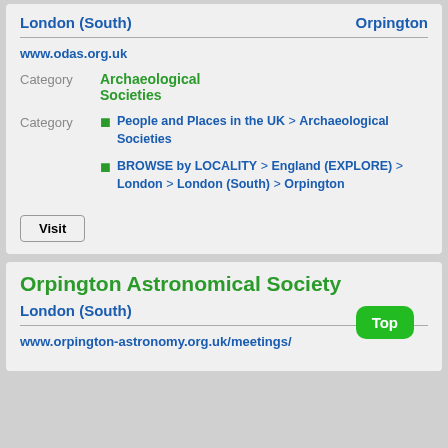London (South)    Orpington
www.odas.org.uk
Category   Archaeological Societies
People and Places in the UK > Archaeological Societies
BROWSE by LOCALITY > England (EXPLORE) > London > London (South) > Orpington
Visit
Orpington Astronomical Society
London (South)    Orpington
www.orpington-astronomy.org.uk/meetings/